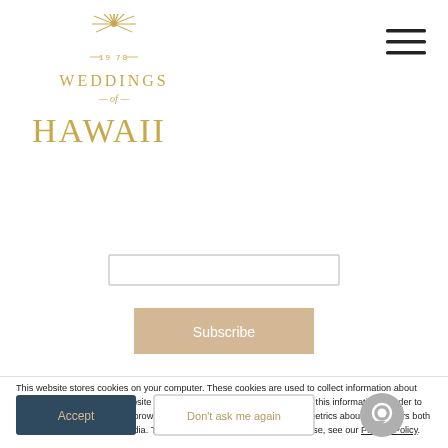[Figure (logo): Weddings of Hawaii logo with palm/sun motif, year 1978, gold color]
[Figure (other): Hamburger menu icon (three horizontal lines) in top right corner]
[Figure (other): Email input field (outlined rectangle)]
[Figure (other): Subscribe button, tan/beige background, white text]
This website stores cookies on your computer. These cookies are used to collect information about how you interact with our website and allow us to remember you. We use this information in order to improve and customize your browsing experience and for analytics and metrics about our visitors both on this website and other media. To find out more about the cookies we use, see our Privacy Policy.
[Figure (other): Accept button (dark blue/teal, gold text) and Don't ask me again button (outlined, gold text), and chat icon circle bottom right]